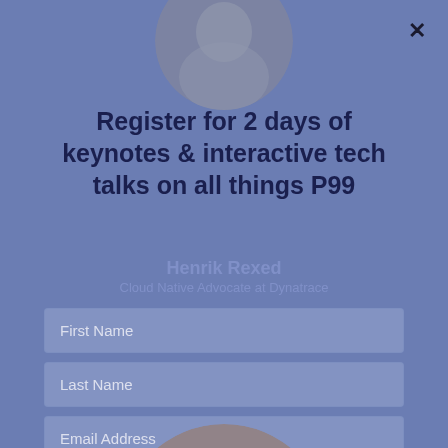[Figure (photo): Circular profile photo of Henrik Rexed, partially visible at top center, overlaid on the page]
Register for 2 days of keynotes & interactive tech talks on all things P99
Henrik Rexed
Cloud Native Advocate at Dynatrace
First Name
Last Name
Email Address
Company
Select Job Role...
[Figure (photo): Circular profile photo of Garrett Hamelin, large, overlapping the form fields in the center-bottom area]
Garrett Hamelin